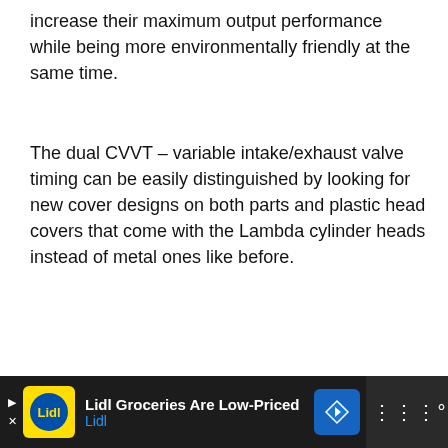increase their maximum output performance while being more environmentally friendly at the same time.
The dual CVVT – variable intake/exhaust valve timing can be easily distinguished by looking for new cover designs on both parts and plastic head covers that come with the Lambda cylinder heads instead of metal ones like before.
[Figure (photo): Light gray placeholder image area]
Lidl Groceries Are Low-Priced  Lidl